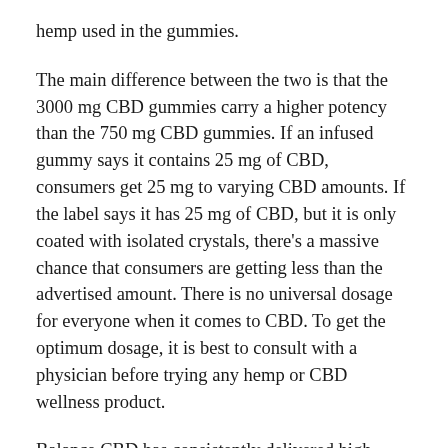hemp used in the gummies.
The main difference between the two is that the 3000 mg CBD gummies carry a higher potency than the 750 mg CBD gummies. If an infused gummy says it contains 25 mg of CBD, consumers get 25 mg to varying CBD amounts. If the label says it has 25 mg of CBD, but it is only coated with isolated crystals, there’s a massive chance that consumers are getting less than the advertised amount. There is no universal dosage for everyone when it comes to CBD. To get the optimum dosage, it is best to consult with a physician before trying any hemp or CBD wellness product.
Balance CBD has consistently delivered high quality, award winning, 100% plant based gummies, without breaking the bank. Balance CBD gummies that set the standard for what you should be putting into